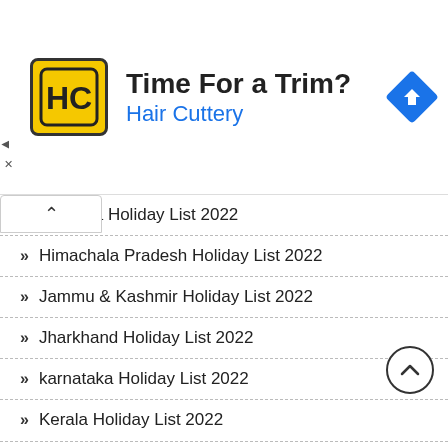[Figure (other): Hair Cuttery advertisement banner with logo, 'Time For a Trim?' headline, and navigation arrow icon]
Haryana Holiday List 2022
Himachala Pradesh Holiday List 2022
Jammu & Kashmir Holiday List 2022
Jharkhand Holiday List 2022
karnataka Holiday List 2022
Kerala Holiday List 2022
Madhya Pradesh Holiday List 2022
Mizoram Holiday List 2022
Maharashtra Holiday List 2022